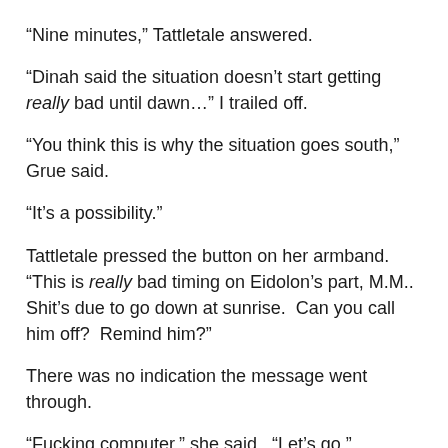“Nine minutes,” Tattletale answered.
“Dinah said the situation doesn’t start getting really bad until dawn…” I trailed off.
“You think this is why the situation goes south,” Grue said.
“It’s a possibility.”
Tattletale pressed the button on her armband.  “This is really bad timing on Eidolon’s part, M.M..  Shit’s due to go down at sunrise.  Can you call him off?  Remind him?”
There was no indication the message went through.
“Fucking computer,” she said.  “Let’s go.”
“No,” Grace said.  “You said it was our call.  I don’t buy the argument.  We stay put.”